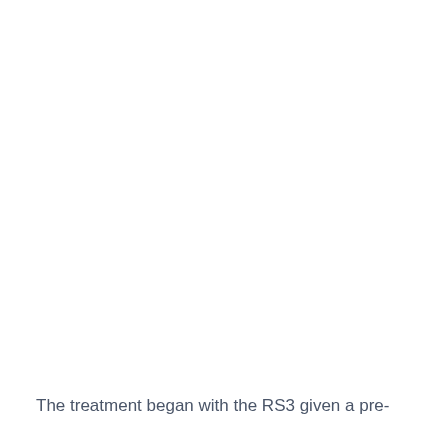The treatment began with the RS3 given a pre-